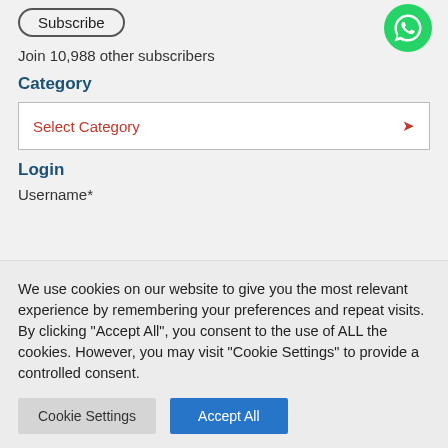[Figure (other): Subscribe button (rounded rectangle outline)]
[Figure (logo): WhatsApp green phone icon/logo]
Join 10,988 other subscribers
Category
[Figure (screenshot): Select Category dropdown box with red text and red chevron arrow]
Login
Username*
We use cookies on our website to give you the most relevant experience by remembering your preferences and repeat visits. By clicking "Accept All", you consent to the use of ALL the cookies. However, you may visit "Cookie Settings" to provide a controlled consent.
Cookie Settings
Accept All